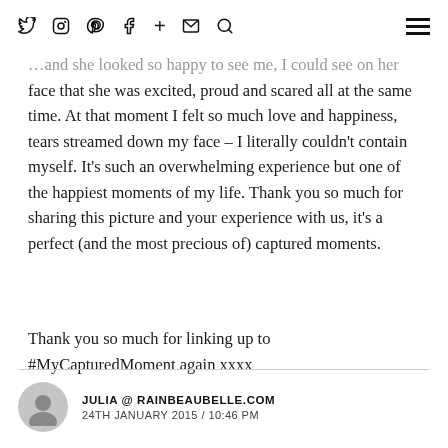Twitter Instagram Pinterest Facebook + Email Search [hamburger menu]
…and she looked so happy to see me, I could see on her face that she was excited, proud and scared all at the same time. At that moment I felt so much love and happiness, tears streamed down my face – I literally couldn't contain myself. It's such an overwhelming experience but one of the happiest moments of my life. Thank you so much for sharing this picture and your experience with us, it's a perfect (and the most precious of) captured moments.
Thank you so much for linking up to #MyCapturedMoment again xxxx
JULIA @ RAINBEAUBELLE.COM
24TH JANUARY 2015 / 10:46 PM